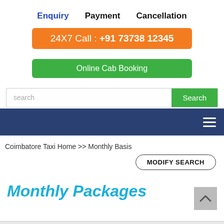Enquiry  Payment  Cancellation
24X7 Call : +91 73738 12345
Online Cab Booking
search  Search
Coimbatore Taxi Home >> Monthly Basis
MODIFY SEARCH
Monthly Packages